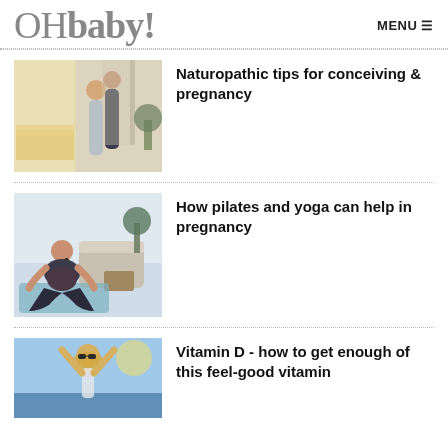OHbaby! MENU
[Figure (photo): Couple standing in a bedroom doorway, woman appears pregnant]
Naturopathic tips for conceiving & pregnancy
[Figure (photo): Pregnant woman sitting cross-legged on a yoga mat doing pilates/yoga]
How pilates and yoga can help in pregnancy
[Figure (photo): Blonde woman with sunglasses and arms raised, outdoors near water]
Vitamin D - how to get enough of this feel-good vitamin